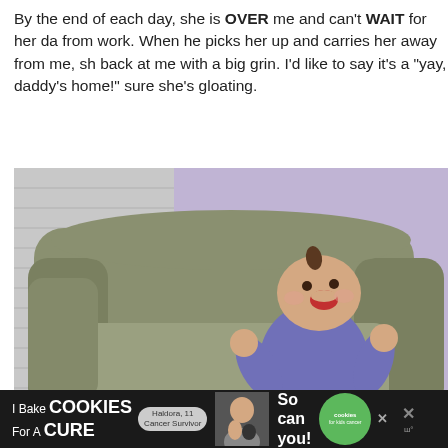By the end of each day, she is OVER me and can't WAIT for her da from work. When he picks her up and carries her away from me, sh back at me with a big grin. I'd like to say it's a "yay, daddy's home!" sure she's gloating.
[Figure (photo): A laughing baby wearing a purple long-sleeve shirt and pink diaper, sitting on a large olive/tan armchair with an open mouth grin and hands raised, against a purple-painted wall background.]
[Figure (infographic): Advertisement banner: 'I Bake COOKIES For A CURE' with a woman's photo, badge reading 'Haldora, 11 Cancer Survivor', text 'So can you!', green circular cookies for kids cancer logo, close X button, and WW logo on dark background.]